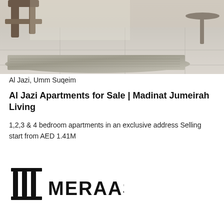[Figure (photo): Interior photo showing a living room floor area with a textured grey rug, light stone/tile flooring, wooden chair legs visible at top left, and a small round side table at top right]
Al Jazi, Umm Suqeim
Al Jazi Apartments for Sale | Madinat Jumeirah Living
1,2,3 & 4 bedroom apartments in an exclusive address Selling start from AED 1.41M
[Figure (logo): Meraas logo: stylized vertical bar icon followed by MERAAS text in bold]